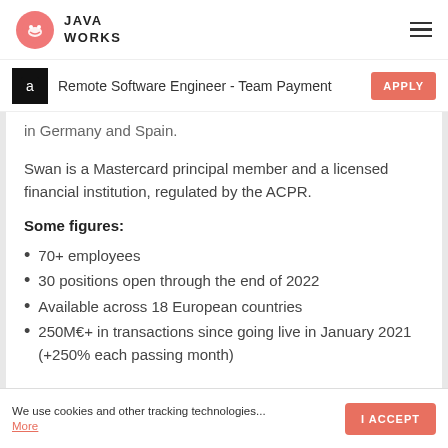JAVA WORKS
Remote Software Engineer - Team Payment
in Germany and Spain.
Swan is a Mastercard principal member and a licensed financial institution, regulated by the ACPR.
Some figures:
70+ employees
30 positions open through the end of 2022
Available across 18 European countries
250M€+ in transactions since going live in January 2021 (+250% each passing month)
We use cookies and other tracking technologies... More | I ACCEPT